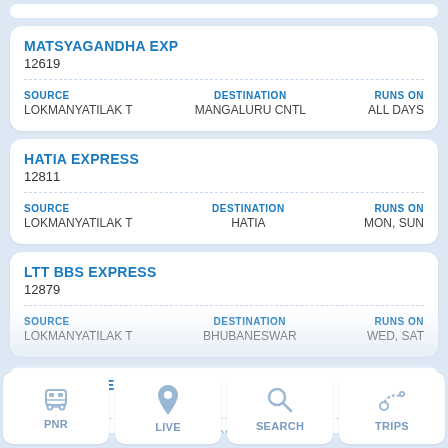MATSYAGANDHA EXP
12619
SOURCE: LOKMANYATILAK T | DESTINATION: MANGALURU CNTL | RUNS ON: ALL DAYS
HATIA EXPRESS
12811
SOURCE: LOKMANYATILAK T | DESTINATION: HATIA | RUNS ON: MON, SUN
LTT BBS EXPRESS
12879
SOURCE: LOKMANYATILAK T | DESTINATION: BHUBANESWAR | RUNS ON: WED, SAT
LTT PATNA EXP
12269
SOURCE: LOKMANYATILAK T | DESTINATION: PATNA | RUNS ON: [partial]
[Figure (screenshot): Bottom navigation bar with four items: PNR (train icon), LIVE (location pin icon), SEARCH (magnifying glass icon), TRIPS (route/pin icon)]